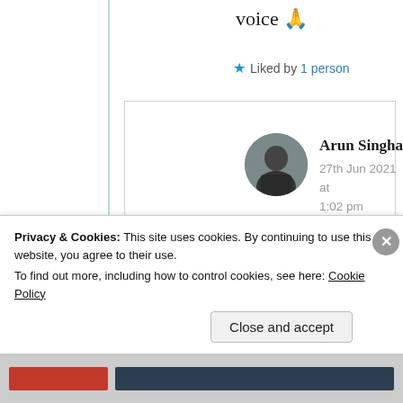voice 🙏
★ Liked by 1 person
Arun Singha
27th Jun 2021 at 1:02 pm
Yes you can. You have that special ability. I cant
Privacy & Cookies: This site uses cookies. By continuing to use this website, you agree to their use.
To find out more, including how to control cookies, see here: Cookie Policy
Close and accept